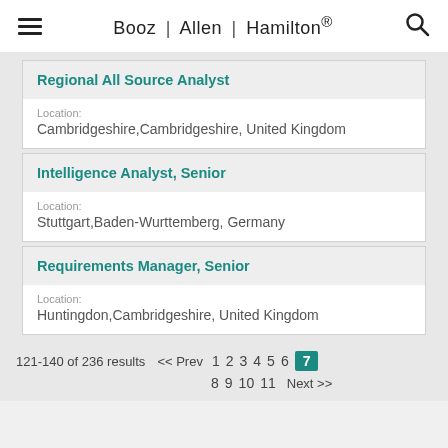Booz | Allen | Hamilton®
Regional All Source Analyst
Location:
Cambridgeshire,Cambridgeshire, United Kingdom
Intelligence Analyst, Senior
Location:
Stuttgart,Baden-Wurttemberg, Germany
Requirements Manager, Senior
Location:
Huntingdon,Cambridgeshire, United Kingdom
121-140 of 236 results  << Prev  1  2  3  4  5  6  7  8  9  10  11  Next >>